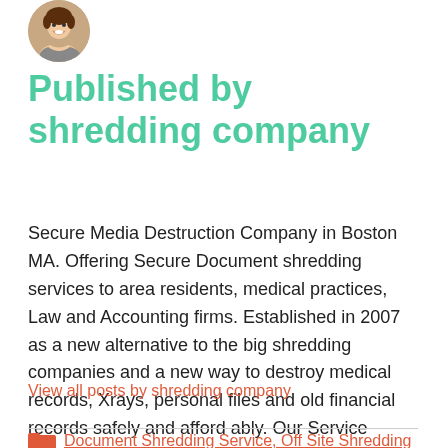[Figure (photo): Circular avatar photo of a smiling woman]
Published by shredding company
Secure Media Destruction Company in Boston MA. Offering Secure Document shredding services to area residents, medical practices, Law and Accounting firms. Established in 2007 as a new alternative to the big shredding companies and a new way to destroy medical records, Xrays, personal files and old financial records safely and afford ably. Our Service meets and exceeds the latest HIPAA and MA Privacy Law requirements.
View all posts by shredding company
Document Shredding Service, Off Site Shredding